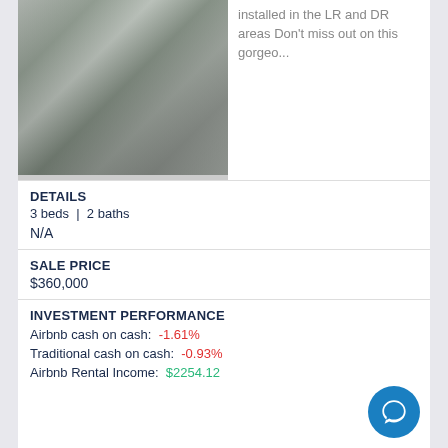[Figure (photo): Blurred exterior or interior photo of a property, grayish tones]
installed in the LR and DR areas Don't miss out on this gorgeo...
DETAILS
3 beds  |  2 baths
N/A
SALE PRICE
$360,000
INVESTMENT PERFORMANCE
Airbnb cash on cash:  -1.61%
Traditional cash on cash:  -0.93%
Airbnb Rental Income:  $2254.12